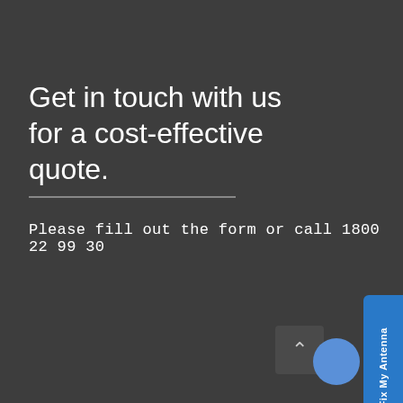Get in touch with us for a cost-effective quote.
Please fill out the form or call 1800 22 99 30
[Figure (other): Sidebar tab with text 'Me Fix My Antenna' in vertical orientation on blue background]
[Figure (other): Scroll-to-top button with upward caret arrow]